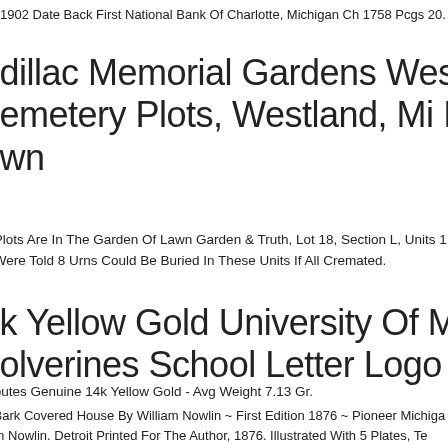1902 Date Back First National Bank Of Charlotte, Michigan Ch 1758 Pcgs 20.
Cadillac Memorial Gardens West Cemetery Plots, Westland, Mi In Garden Of Lawn
Plots Are In The Garden Of Lawn Garden & Truth, Lot 18, Section L, Units 1,2, Were Told 8 Urns Could Be Buried In These Units If All Cremated.
14k Yellow Gold University Of Michigan Wolverines School Letter Logo Pendant
tributes Genuine 14k Yellow Gold - Avg Weight 7.13 Gr.
Bark Covered House By William Nowlin ~ First Edition 1876 ~ Pioneer Michigan m Nowlin. Detroit Printed For The Author, 1876. Illustrated With 5 Plates, Te rations. Publisher's Cloth Stamped In Blind And Gilt. First Edition. Bark Cove e.